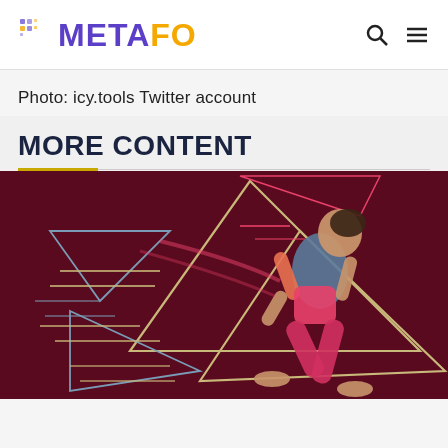METAFO
Photo: icy.tools Twitter account
MORE CONTENT
[Figure (illustration): Illustration of a female runner in pink athletic wear sprinting, set against a dark maroon background with geometric triangle and line decorations in gold, gray, and pink.]